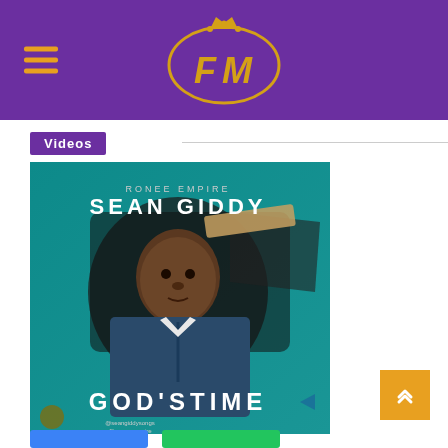FM Logo header with hamburger menu
Videos
[Figure (photo): Album art for Sean Giddy 'God's Time' single. Shows a young Black man in a denim vest over a white shirt against a teal/dark brushstroke background. Text reads 'RONEE EMPIRE', 'SEAN GIDDY', 'GOD'S TIME'. Social handles visible at bottom.]